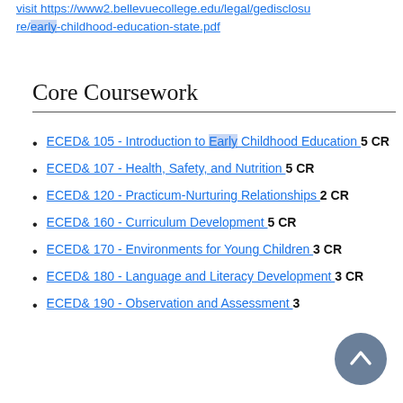visit https://www2.bellevuecollege.edu/legal/gedisclosure/early-childhood-education-state.pdf
Core Coursework
ECED& 105 - Introduction to Early Childhood Education 5 CR
ECED& 107 - Health, Safety, and Nutrition 5 CR
ECED& 120 - Practicum-Nurturing Relationships 2 CR
ECED& 160 - Curriculum Development 5 CR
ECED& 170 - Environments for Young Children 3 CR
ECED& 180 - Language and Literacy Development 3 CR
ECED& 190 - Observation and Assessment 3